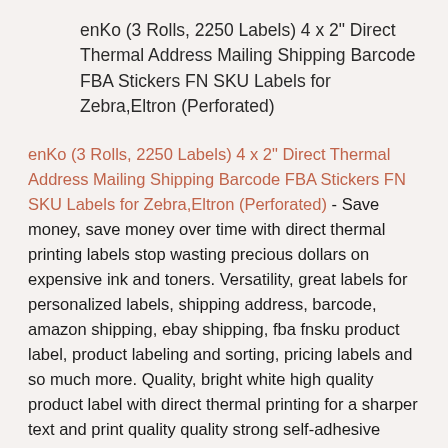enKo (3 Rolls, 2250 Labels) 4 x 2″ Direct Thermal Address Mailing Shipping Barcode FBA Stickers FN SKU Labels for Zebra,Eltron (Perforated)
enKo (3 Rolls, 2250 Labels) 4 x 2″ Direct Thermal Address Mailing Shipping Barcode FBA Stickers FN SKU Labels for Zebra,Eltron (Perforated) - Save money, save money over time with direct thermal printing labels stop wasting precious dollars on expensive ink and toners. Versatility, great labels for personalized labels, shipping address, barcode, amazon shipping, ebay shipping, fba fnsku product label, product labeling and sorting, pricing labels and so much more. Quality, bright white high quality product label with direct thermal printing for a sharper text and print quality quality strong self-adhesive sticky mailing label with a perforation for maximum efficiency. Package